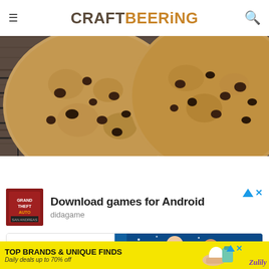CRAFTBEERING
[Figure (photo): Close-up photo of two large chocolate chip cookies resting on a wire cooling rack, viewed from above. The cookies are golden-brown with visible chocolate chips and a rustic texture.]
[Figure (infographic): Advertisement block: 'Download games for Android' from didagame, with a GTA-style game thumbnail and a Subway Surfers-style game image]
[Figure (infographic): Bottom banner advertisement: TOP BRANDS & UNIQUE FINDS, Daily deals up to 70% off, Zulily brand, yellow background with product images]